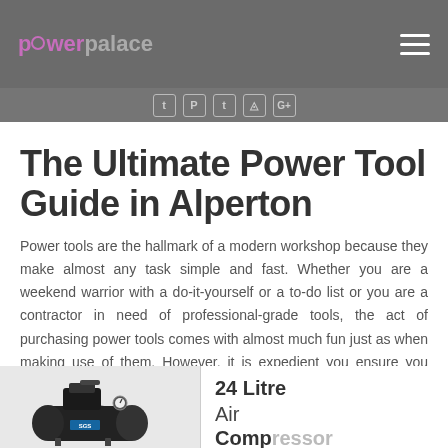power palace — navigation header with logo and hamburger menu
Social icons bar: Twitter, Pinterest, Tumblr, Instagram, Google+
The Ultimate Power Tool Guide in Alperton
Power tools are the hallmark of a modern workshop because they make almost any task simple and fast. Whether you are a weekend warrior with a do-it-yourself or a to-do list or you are a contractor in need of professional-grade tools, the act of purchasing power tools comes with almost much fun just as when making use of them. However, it is expedient you ensure you have the right tools at hand before embarking on any project.
[Figure (photo): Photo of a black SGS 24 Litre Air Compressor machine]
24 Litre Air Compressor